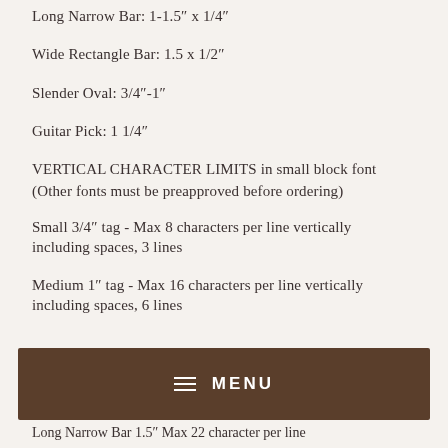Long Narrow Bar: 1-1.5" x 1/4"
Wide Rectangle Bar: 1.5 x 1/2"
Slender Oval: 3/4"-1"
Guitar Pick: 1 1/4"
VERTICAL CHARACTER LIMITS in small block font
(Other fonts must be preapproved before ordering)
Small 3/4" tag - Max 8 characters per line vertically including spaces, 3 lines
Medium 1" tag - Max 16 characters per line vertically including spaces, 6 lines
Long Narrow Bar 1.5" Max 22 character per line